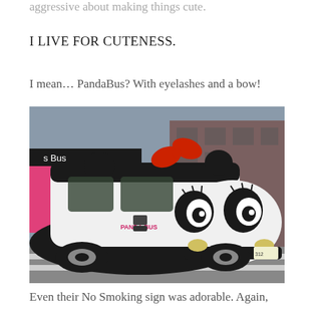aggressive about making things cute.
I LIVE FOR CUTENESS.
I mean… PandaBus? With eyelashes and a bow!
[Figure (photo): A panda-themed bus on a street. The bus is decorated to look like a panda face with large black-and-white eyes with eyelashes, a black body, a red bow on top, and round panda ears. The text 'PANDA BUS' appears on the side.]
Even their No Smoking sign was adorable. Again,